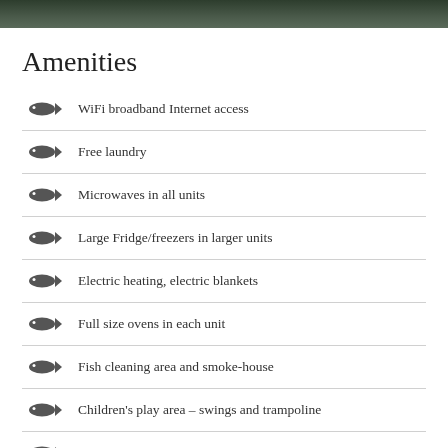[Figure (photo): Dark outdoor photo strip at top of page showing greenery/nature scene]
Amenities
WiFi broadband Internet access
Free laundry
Microwaves in all units
Large Fridge/freezers in larger units
Electric heating, electric blankets
Full size ovens in each unit
Fish cleaning area and smoke-house
Children's play area – swings and trampoline
Comprehensive fly fishing information